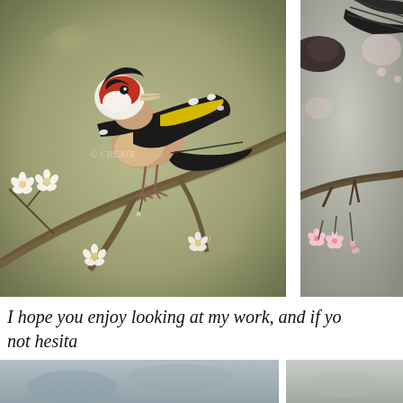[Figure (illustration): Painting of a goldfinch (Carduelis carduelis) perched on a flowering branch with white blossoms, against a soft olive-grey blurred background. The bird has a red face, white cheeks, black and white wings with a yellow wing bar, and a beige-brown body.]
[Figure (illustration): Partial painting of a darker bird (possibly a long-tailed tit or similar) perched on a branch with pink cherry blossom flowers, against a soft grey background. Only the right portion of the painting is visible.]
I hope you enjoy looking at my work, and if yo... not hesita...
[Figure (photo): Bottom left partial image showing a grey-blue scene, possibly a bird or nature scene.]
[Figure (photo): Bottom right partial image, small cropped section.]